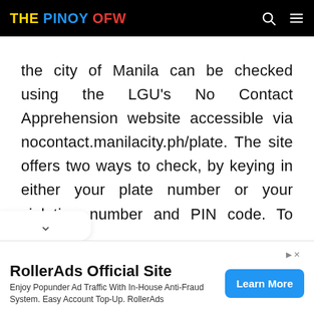THE PINOY OFW
the city of Manila can be checked using the LGU's No Contact Apprehension website accessible via nocontact.manilacity.ph/plate. The site offers two ways to check, by keying in either your plate number or your violation number and PIN code. To start,
[Figure (other): Advertisement banner: RollerAds Official Site - Enjoy Popunder Ad Traffic With In-House Anti-Fraud System. Easy Account Top-Up. RollerAds - with a Learn More button]